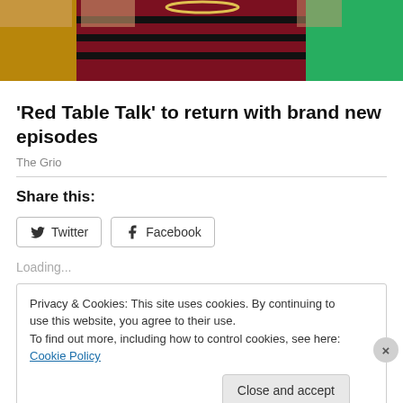[Figure (photo): Photo strip showing people, partially cropped at top. Visible are colorful clothing including a dark red/maroon knit top with black stripes, a green jacket, and a brown/tan jacket. A beaded necklace is visible.]
'Red Table Talk' to return with brand new episodes
The Grio
Share this:
Twitter
Facebook
Loading...
Privacy & Cookies: This site uses cookies. By continuing to use this website, you agree to their use.
To find out more, including how to control cookies, see here: Cookie Policy
Close and accept